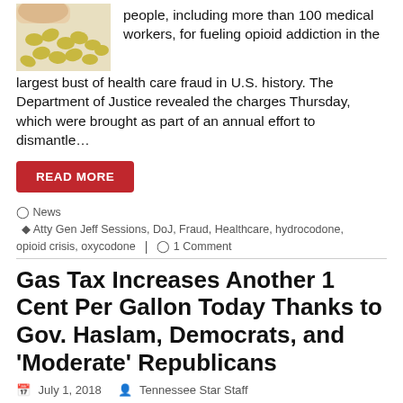people, including more than 100 medical workers, for fueling opioid addiction in the largest bust of health care fraud in U.S. history. The Department of Justice revealed the charges Thursday, which were brought as part of an annual effort to dismantle…
[Figure (photo): Close-up photo of yellow/green pills on a white surface]
READ MORE
News  Atty Gen Jeff Sessions, DoJ, Fraud, Healthcare, hydrocodone, opioid crisis, oxycodone  1 Comment
Gas Tax Increases Another 1 Cent Per Gallon Today Thanks to Gov. Haslam, Democrats, and 'Moderate' Republicans
July 1, 2018   Tennessee Star Staff
[Figure (photo): Photo of a person pumping gas into a white car at a gas station]
The state gas tax increased another 1 cent per gallon today, thanks to the IMPROVE Act passed by Democrats and "moderate"